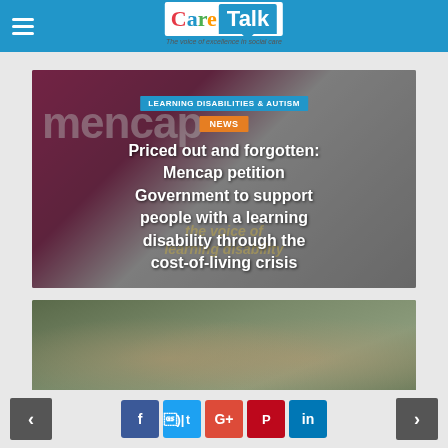Care Talk – The voice of excellence in social care
[Figure (screenshot): Mencap branded article card with dark red and grey background showing 'mencap' logo text and 'the voice of learning disability' text overlay, with category tags and article title overlaid]
LEARNING DISABILITIES & AUTISM
NEWS
Priced out and forgotten: Mencap petition Government to support people with a learning disability through the cost-of-living crisis
[Figure (photo): Photo of two people outdoors with green foliage background]
Social share buttons: Facebook, Twitter, Google+, Pinterest, LinkedIn; navigation arrows left and right